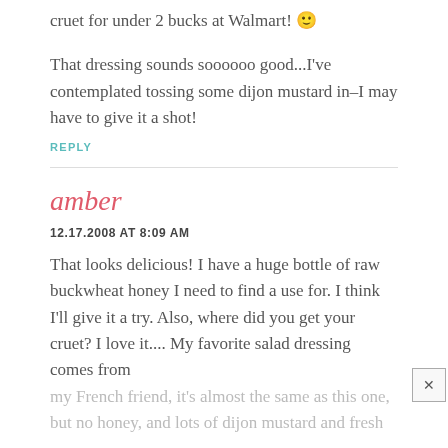cruet for under 2 bucks at Walmart! 🙂
That dressing sounds soooooo good...I've contemplated tossing some dijon mustard in–I may have to give it a shot!
REPLY
amber
12.17.2008 AT 8:09 AM
That looks delicious! I have a huge bottle of raw buckwheat honey I need to find a use for. I think I'll give it a try. Also, where did you get your cruet? I love it.... My favorite salad dressing comes from my French friend, it's almost the same as this one, but no honey, and lots of dijon mustard and fresh